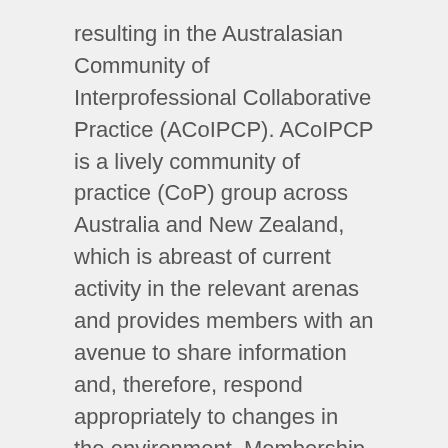resulting in the Australasian Community of Interprofessional Collaborative Practice (ACoIPCP). ACoIPCP is a lively community of practice (CoP) group across Australia and New Zealand, which is abreast of current activity in the relevant arenas and provides members with an avenue to share information and, therefore, respond appropriately to changes in the environment. Membership includes likeminded individuals who work in the area of interprofessional collaboration from a broad range of perspectives in both health education and practice. This paper describes the development of ACoIPCP and its aims, activities and achievements. By developing a community of practice framework in a cross-organisational environment, ACoIPCP members have been able to support one another, share resources, seek feedback and learn with and from one another to foster interprofessional collaborative